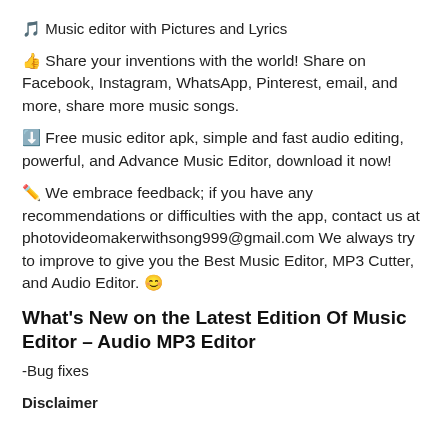🎵 Music editor with Pictures and Lyrics
👍 Share your inventions with the world! Share on Facebook, Instagram, WhatsApp, Pinterest, email, and more, share more music songs.
⬇️ Free music editor apk, simple and fast audio editing, powerful, and Advance Music Editor, download it now!
✏️ We embrace feedback; if you have any recommendations or difficulties with the app, contact us at photovideomakerwithsong999@gmail.com We always try to improve to give you the Best Music Editor, MP3 Cutter, and Audio Editor. 😊
What's New on the Latest Edition Of Music Editor – Audio MP3 Editor
-Bug fixes
Disclaimer